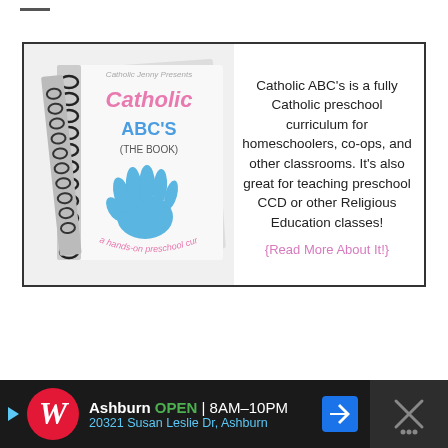[Figure (illustration): Advertisement box with a spiral-bound notebook book cover showing 'Catholic ABC's (The Book) - a hands-on preschool curriculum' with a blue painted hand on the cover, next to descriptive text about Catholic preschool curriculum.]
Catholic ABC's is a fully Catholic preschool curriculum for homeschoolers, co-ops, and other classrooms. It's also great for teaching preschool CCD or other Religious Education classes!
{Read More About It!}
[Figure (infographic): Walgreens advertisement banner at bottom: Ashburn OPEN | 8AM-10PM, 20321 Susan Leslie Dr, Ashburn. Shows Walgreens W logo, navigation arrow icon, and close X button.]